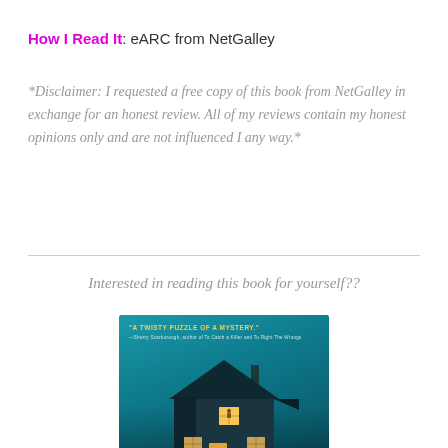How I Read It: eARC from NetGalley
*Disclaimer: I requested a free copy of this book from NetGalley in exchange for an honest review. All of my reviews contain my honest opinions only and are not influenced I any way.*
Interested in reading this book for yourself??
[Figure (photo): Book cover showing a dark teal house at night with lit windows and a glowing door entrance, with blurb text 'A TWISTY PUZZLE OF A MYSTERY.' at the top in yellow.]